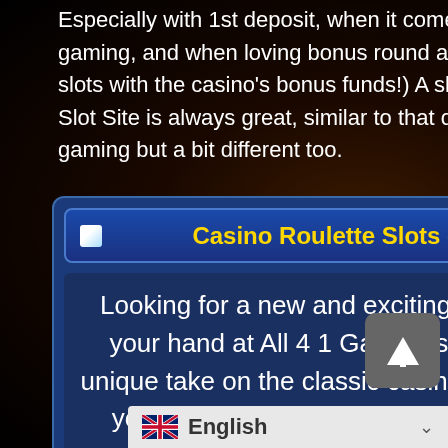Especially with 1st deposit, when it comes to big-time gaming, and when loving bonus round action (playing slots with the casino's bonus funds!) A slot bonus at Top Slot Site is always great, similar to that of Progressplay gaming but a bit different too.
Casino Roulette Slots - All 4 1 Gaming
Looking for a new and exciting way to gamble? Try your hand at All 4 1 Gaming's Casino Slots! Their unique take on the classic casino games is sure to get your heart racing. With fast-paced gameplay and simple ru...